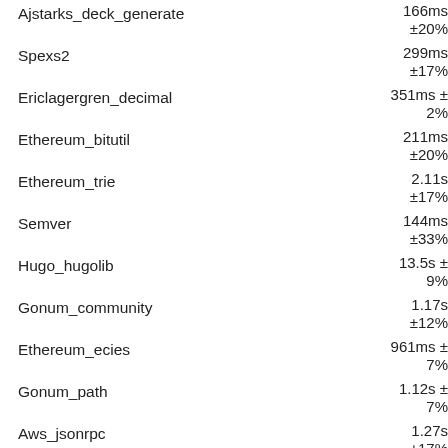Ajstarks_deck_generate
166ms ±20%
Spexs2
299ms ±17%
Ericlagergren_decimal
351ms ±2%
Ethereum_bitutil
211ms ±20%
Ethereum_trie
2.11s ±17%
Semver
144ms ±33%
Hugo_hugolib
13.5s ±9%
Gonum_community
1.17s ±12%
Ethereum_ecies
961ms ±7%
Gonum_path
1.12s ±7%
Aws_jsonrpc
1.27s ±17%
K8s_workqueue
537ms ±8%
Gonum_mat
1.08s ±16%